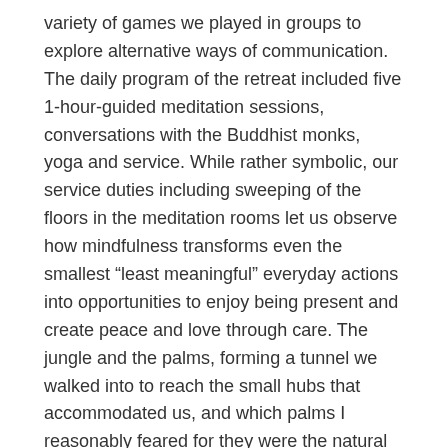variety of games we played in groups to explore alternative ways of communication. The daily program of the retreat included five 1-hour-guided meditation sessions, conversations with the Buddhist monks, yoga and service. While rather symbolic, our service duties including sweeping of the floors in the meditation rooms let us observe how mindfulness transforms even the smallest “least meaningful” everyday actions into opportunities to enjoy being present and create peace and love through care. The jungle and the palms, forming a tunnel we walked into to reach the small hubs that accommodated us, and which palms I reasonably feared for they were the natural habitat of some of the many kinds of poisonous snakes living in Thailand, made mindfulness a matter of life and death.
In a couple of days I transformed into a sponge- observing and absorbing everything that was within